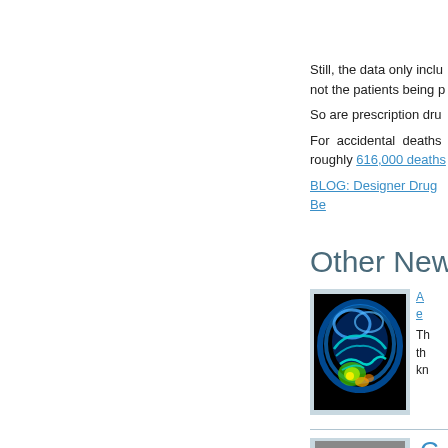Still, the data only inclu not the patients being p
So are prescription dru
For accidental deaths roughly 616,000 deaths
BLOG: Designer Drug Be
Other News
[Figure (photo): Brain scan image showing colorful neural pathways on a black background]
Th th kn
C